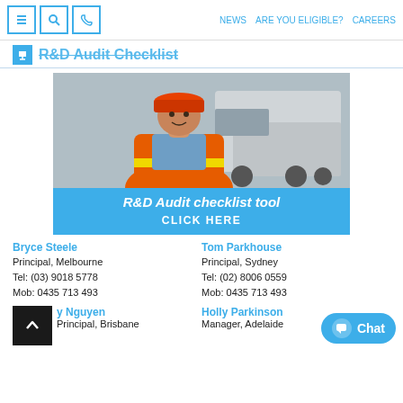NEWS  ARE YOU ELIGIBLE?  CAREERS
R&D Audit Checklist
[Figure (photo): Man in orange hard hat and hi-vis vest smiling, with large trucks in background. Below photo is a blue banner reading 'R&D Audit checklist tool' with 'CLICK HERE' below it.]
Bryce Steele
Principal, Melbourne
Tel: (03) 9018 5778
Mob: 0435 713 493
Tom Parkhouse
Principal, Sydney
Tel: (02) 8006 0559
Mob: 0435 713 493
y Nguyen
Principal, Brisbane
Holly Parkinson
Manager, Adelaide